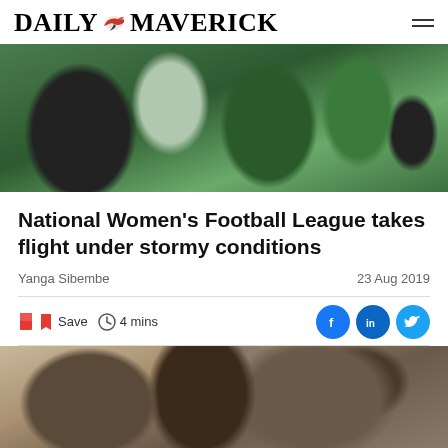DAILY MAVERICK
[Figure (photo): Group of women in green jackets celebrating, embracing each other]
National Women's Football League takes flight under stormy conditions
Yanga Sibembe
23 Aug 2019
Save  4 mins
[Figure (photo): Close-up of a person's face, eyes and curly hair, in sepia/monochrome tones]